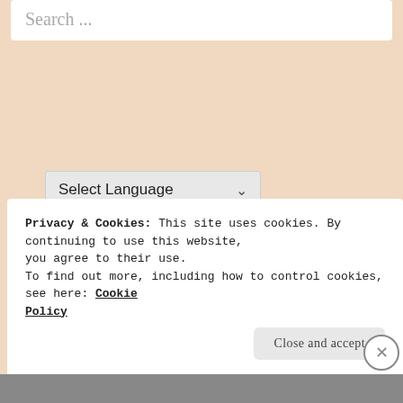Search ...
[Figure (screenshot): Google Translate widget with 'Select Language' dropdown and 'Powered by Google Translate' text]
Privacy & Cookies: This site uses cookies. By continuing to use this website, you agree to their use.
To find out more, including how to control cookies, see here: Cookie Policy
Close and accept